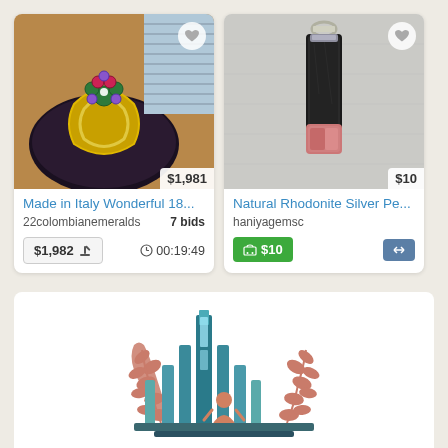[Figure (photo): Jewelry ring with colorful gemstones on dark velvet display]
$1,981
Made in Italy Wonderful 18...
22colombianemeralds   7 bids
$1,982   00:19:49
[Figure (photo): Natural rhodonite black and pink mineral pendant on keychain against grey fabric]
$10
Natural Rhodonite Silver Pe...
haniyagemsc
$10
[Figure (illustration): Stylized illustration of a person with raised arms in front of a building with laurel branches on either side]